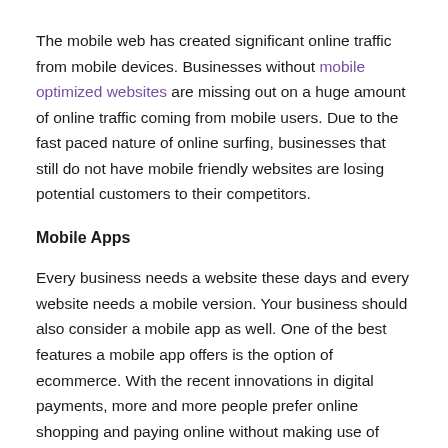The mobile web has created significant online traffic from mobile devices. Businesses without mobile optimized websites are missing out on a huge amount of online traffic coming from mobile users. Due to the fast paced nature of online surfing, businesses that still do not have mobile friendly websites are losing potential customers to their competitors.
Mobile Apps
Every business needs a website these days and every website needs a mobile version. Your business should also consider a mobile app as well. One of the best features a mobile app offers is the option of ecommerce. With the recent innovations in digital payments, more and more people prefer online shopping and paying online without making use of credit cards.